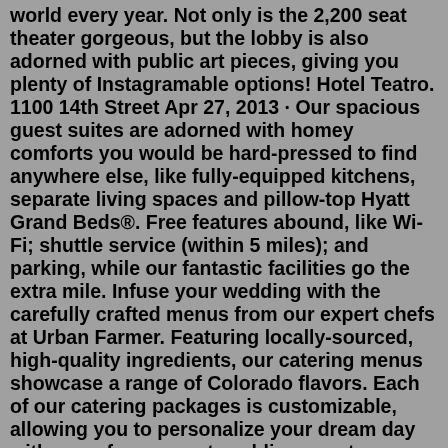world every year. Not only is the 2,200 seat theater gorgeous, but the lobby is also adorned with public art pieces, giving you plenty of Instagramable options! Hotel Teatro. 1100 14th Street Apr 27, 2013 · Our spacious guest suites are adorned with homey comforts you would be hard-pressed to find anywhere else, like fully-equipped kitchens, separate living spaces and pillow-top Hyatt Grand Beds®. Free features abound, like Wi-Fi; shuttle service (within 5 miles); and parking, while our fantastic facilities go the extra mile. Infuse your wedding with the carefully crafted menus from our expert chefs at Urban Farmer. Featuring locally-sourced, high-quality ingredients, our catering menus showcase a range of Colorado flavors. Each of our catering packages is customizable, allowing you to personalize your dream day with one of our expert wedding event managers. 1. LOVE. Browse our digital-wardrobe of trend-led styles and rent the looks you love for 7 days, 14 days or longer with one of our monthly plans. 2. WEAR.